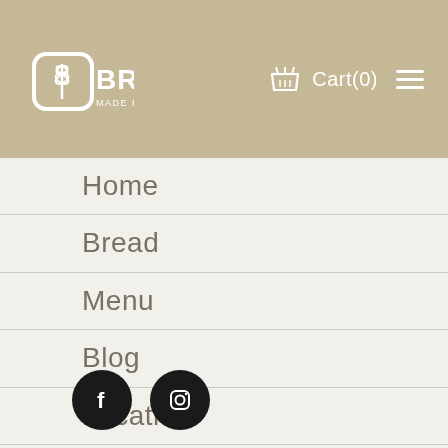BRED MADE BY ED. — Cart(0)
Home
Bread
Menu
Blog
Location
News & Events
Career
Privacy Policy
[Figure (logo): Facebook and Instagram social media icon buttons]